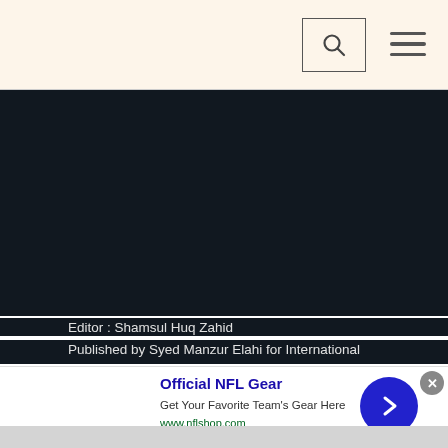[Figure (screenshot): Website navigation bar with a search box icon and hamburger menu on a cream/beige background]
[Figure (screenshot): Dark navy/black background content section of a website]
Editor : Shamsul Huq Zahid
Published by Syed Manzur Elahi for International
[Figure (screenshot): Advertisement banner: Official NFL Gear - Get Your Favorite Team's Gear Here - www.nflshop.com with a blue circular arrow button and close X button]